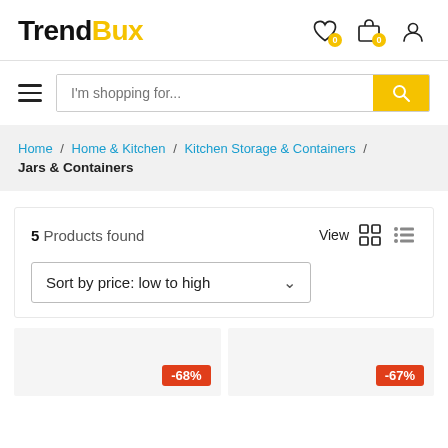TrendBux
I'm shopping for...
Home / Home & Kitchen / Kitchen Storage & Containers / Jars & Containers
5 Products found
Sort by price: low to high
-68%
-67%